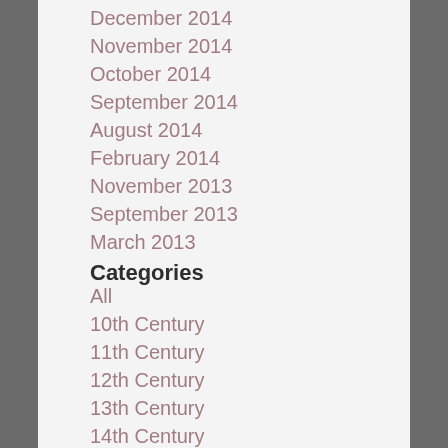December 2014
November 2014
October 2014
September 2014
August 2014
February 2014
November 2013
September 2013
March 2013
Categories
All
10th Century
11th Century
12th Century
13th Century
14th Century
15th Century
16th Century